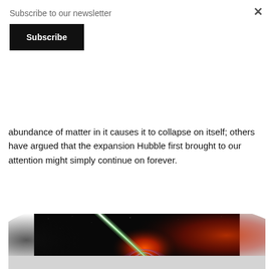Subscribe to our newsletter
Subscribe
abundance of matter in it causes it to collapse on itself; others have argued that the expansion Hubble first brought to our attention might simply continue on forever.
[Figure (illustration): Artist's illustration of a neutron star or pulsar with a bright greenish-white beam of energy shooting diagonally upward from the center, surrounded by swirling red and orange nebula-like clouds, and blue/purple magnetic field lines at the bottom.]